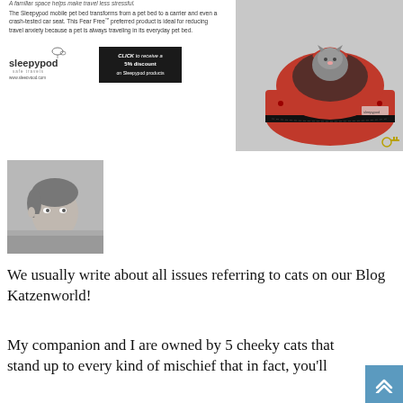[Figure (photo): Red Sleepypod mobile pet carrier/car seat with a grey kitten sitting inside, shown with car keys nearby. Product advertisement image.]
The Sleepypod mobile pet bed transforms from a pet bed to a carrier and even a crash-tested car seat. This Fear Free™ preferred product is ideal for reducing travel anxiety because a pet is always traveling in its everyday pet bed.
[Figure (logo): Sleepypod logo with safe travels tagline and www.sleepypod.com URL]
[Figure (other): Black button: CLICK to receive a 5% discount on Sleepypod products]
[Figure (photo): Black and white portrait photo of a young man looking slightly upward, used as author/blogger photo]
We usually write about all issues referring to cats on our Blog Katzenworld!
My companion and I are owned by 5 cheeky cats that stand up to every kind of mischief that in fact, you'll